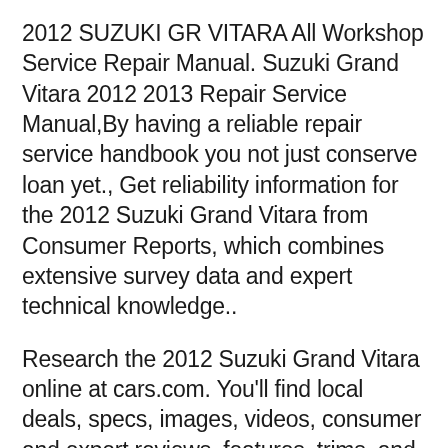2012 SUZUKI GR VITARA All Workshop Service Repair Manual. Suzuki Grand Vitara 2012 2013 Repair Service Manual,By having a reliable repair service handbook you not just conserve loan yet., Get reliability information for the 2012 Suzuki Grand Vitara from Consumer Reports, which combines extensive survey data and expert technical knowledge..
Research the 2012 Suzuki Grand Vitara online at cars.com. You'll find local deals, specs, images, videos, consumer and expert reviews, features, trims, and articles Suzuki Vitara; Overview; 2012 In the second This new generation of